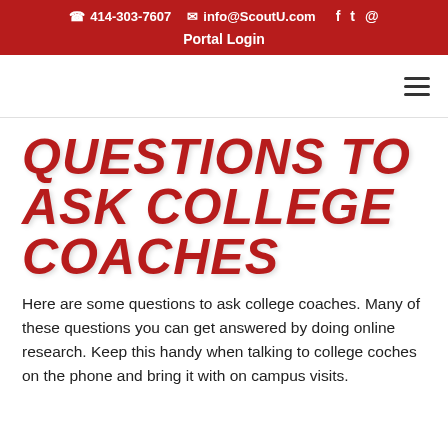414-303-7607  info@ScoutU.com  Portal Login
QUESTIONS TO ASK COLLEGE COACHES
Here are some questions to ask college coaches. Many of these questions you can get answered by doing online research. Keep this handy when talking to college coches on the phone and bring it with on campus visits.